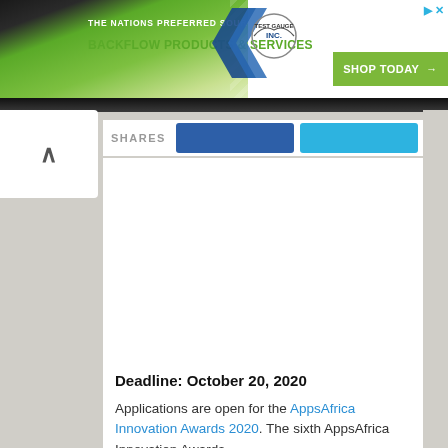[Figure (screenshot): Advertisement banner for Test Gauge Inc. with green gradient background, logo, and 'SHOP TODAY' button. Text reads: 'THE NATIONS PREFERRED SOURCE FOR BACKFLOW PRODUCTS & SERVICES']
SHARES
[Figure (screenshot): Advertisement image placeholder area (white space)]
Deadline: October 20, 2020
Applications are open for the AppsAfrica Innovation Awards 2020. The sixth AppsAfrica Innovation Awards,